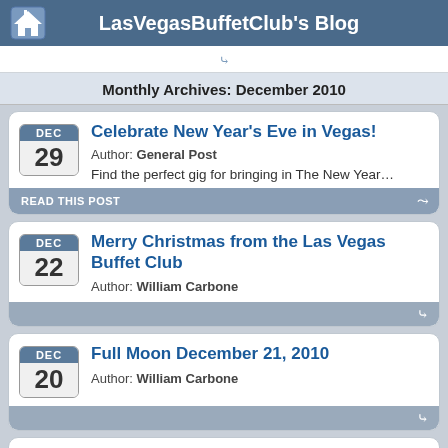LasVegasBuffetClub's Blog
Monthly Archives: December 2010
Celebrate New Year's Eve in Vegas!
Author: General Post
Find the perfect gig for bringing in The New Year…
READ THIS POST
Merry Christmas from the Las Vegas Buffet Club
Author: William Carbone
Full Moon December 21, 2010
Author: William Carbone
Trivia: John Lennon once put up a